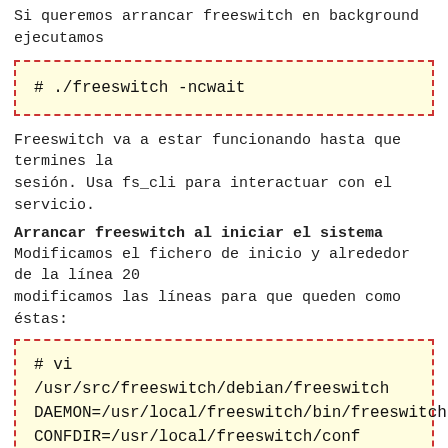Si queremos arrancar freeswitch en background ejecutamos
# ./freeswitch -ncwait
Freeswitch va a estar funcionando hasta que termines la sesión. Usa fs_cli para interactuar con el servicio.
Arrancar freeswitch al iniciar el sistema
Modificamos el fichero de inicio y alrededor de la línea 20 modificamos las líneas para que queden como éstas:
# vi /usr/src/freeswitch/debian/freeswitch
DAEMON=/usr/local/freeswitch/bin/freeswitch
CONFDIR=/usr/local/freeswitch/conf
GROUP=daemon